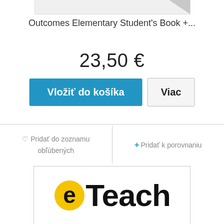[Figure (other): Partial book cover image at top, cropped]
Outcomes Elementary Student's Book +...
23,50 €
Vložiť do košíka
Viac
♡ Pridať do zoznamu obľúbených
+ Pridať k porovnaniu
[Figure (logo): eTeach logo — letter e in yellow circle followed by Teach in black bold text]